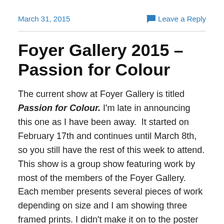March 31, 2015   Leave a Reply
Foyer Gallery 2015 – Passion for Colour
The current show at Foyer Gallery is titled Passion for Colour. I'm late in announcing this one as I have been away.  It started on February 17th and continues until March 8th, so you still have the rest of this week to attend. This show is a group show featuring work by most of the members of the Foyer Gallery. Each member presents several pieces of work depending on size and I am showing three framed prints. I didn't make it on to the poster unfortunately.